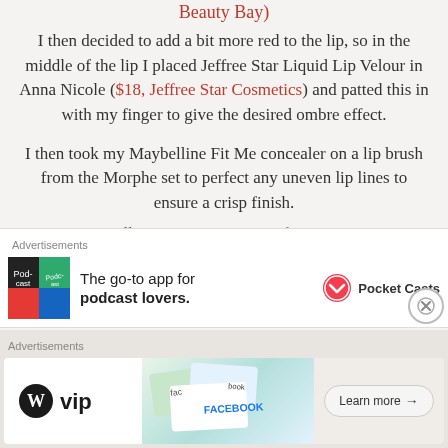Beauty Bay)
I then decided to add a bit more red to the lip, so in the middle of the lip I placed Jeffree Star Liquid Lip Velour in Anna Nicole ($18, Jeffree Star Cosmetics) and patted this in with my finger to give the desired ombre effect.
I then took my Maybelline Fit Me concealer on a lip brush from the Morphe set to perfect any uneven lip lines to ensure a crisp finish.
*All prices correct at time of posting.
Advertisements
[Figure (other): Pocket Casts app advertisement with app icon and text: The go-to app for podcast lovers.]
Advertisements
[Figure (other): WordPress VIP advertisement with social media brand imagery and Learn more button]